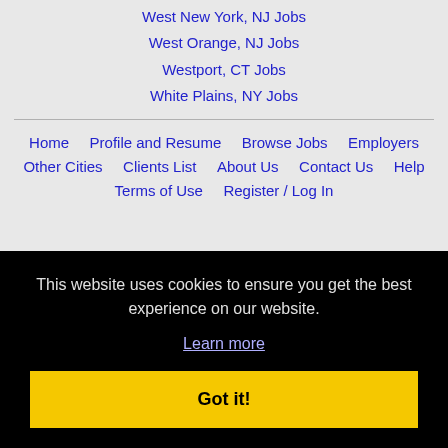West New York, NJ Jobs
West Orange, NJ Jobs
Westport, CT Jobs
White Plains, NY Jobs
Home | Profile and Resume | Browse Jobs | Employers | Other Cities | Clients List | About Us | Contact Us | Help | Terms of Use | Register / Log In
This website uses cookies to ensure you get the best experience on our website. Learn more
Got it!